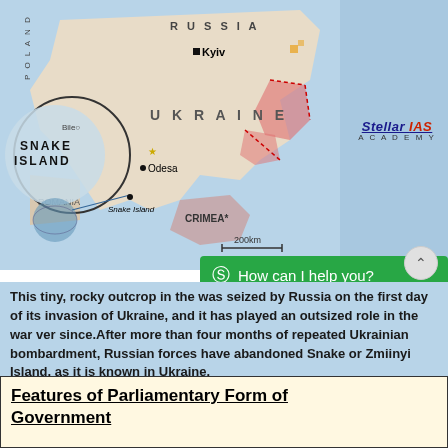[Figure (map): Map of Ukraine showing Snake Island in the Black Sea near Odesa and Crimea, with Kyiv marked, Russia labeled to the northeast, Romania to the west, and a circled inset highlighting Snake Island location. Scale bar shows 200km. Red shading indicates conflict zones.]
Stellar IAS Academy
How can I help you?
This tiny, rocky outcrop in the [Black Sea] was seized by Russia on the first day of its invasion of Ukraine, and it has played an outsized role in the war ver since.After more than four months of repeated Ukrainian bombardment, Russian forces have abandoned Snake or Zmiinyi Island, as it is known in Ukraine.
Features of Parliamentary Form of Government